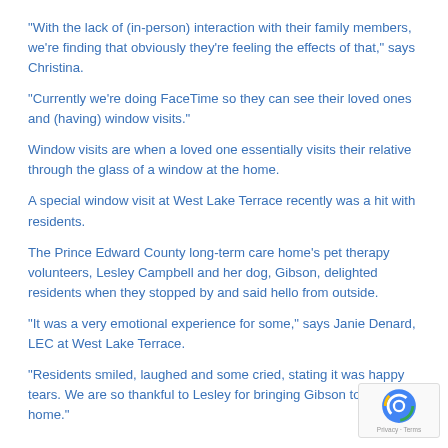“With the lack of (in-person) interaction with their family members, we’re finding that obviously they’re feeling the effects of that,” says Christina.
“Currently we’re doing FaceTime so they can see their loved ones and (having) window visits.”
Window visits are when a loved one essentially visits their relative through the glass of a window at the home.
A special window visit at West Lake Terrace recently was a hit with residents.
The Prince Edward County long-term care home’s pet therapy volunteers, Lesley Campbell and her dog, Gibson, delighted residents when they stopped by and said hello from outside.
“It was a very emotional experience for some,” says Janie Denard, LEC at West Lake Terrace.
“Residents smiled, laughed and some cried, stating it was happy tears. We are so thankful to Lesley for bringing Gibson to the home.”